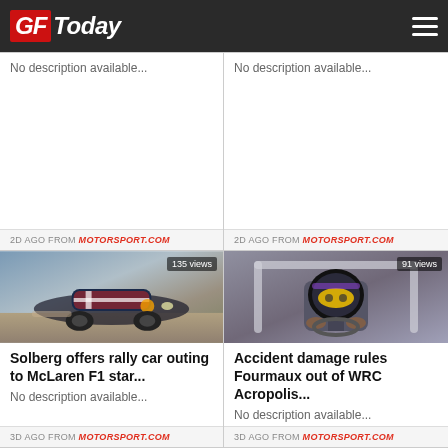GF Today
No description available...
2D AGO FROM MOTORSPORT.COM
No description available...
2D AGO FROM MOTORSPORT.COM
[Figure (photo): Rally car with Union Jack livery (Hyundai WRC), 135 views]
Solberg offers rally car outing to McLaren F1 star...
No description available...
3D AGO FROM MOTORSPORT.COM
[Figure (photo): Racing driver in helmet inside car cockpit, 91 views]
Accident damage rules Fourmaux out of WRC Acropolis...
No description available...
3D AGO FROM MOTORSPORT.COM